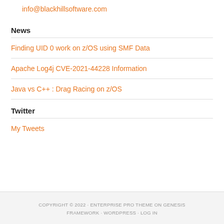info@blackhillsoftware.com
News
Finding UID 0 work on z/OS using SMF Data
Apache Log4j CVE-2021-44228 Information
Java vs C++ : Drag Racing on z/OS
Twitter
My Tweets
COPYRIGHT © 2022 · ENTERPRISE PRO THEME ON GENESIS FRAMEWORK · WORDPRESS · LOG IN